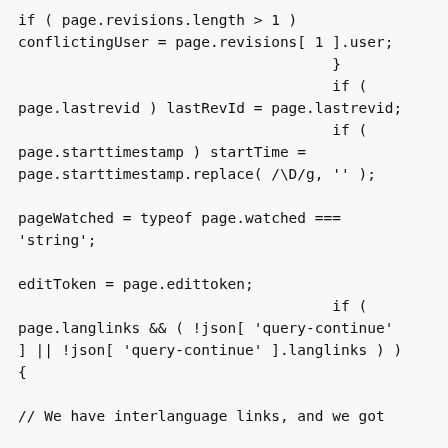if ( page.revisions.length > 1 )
conflictingUser = page.revisions[ 1 ].user;
                                    }
                                    if (
page.lastrevid ) lastRevId = page.lastrevid;
                                    if (
page.starttimestamp ) startTime =
page.starttimestamp.replace( /\D/g, '' );

pageWatched = typeof page.watched ===
'string';

editToken = page.edittoken;
                                    if (
page.langlinks && ( !json[ 'query-continue'
] || !json[ 'query-continue' ].langlinks ) )
{

// We have interlanguage links, and we got